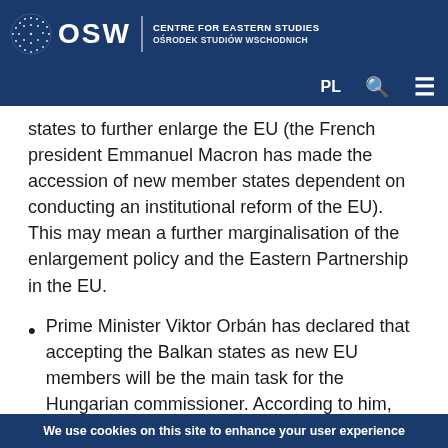OSW | CENTRE FOR EASTERN STUDIES
OŚRODEK STUDIÓW WSCHODNICH
states to further enlarge the EU (the French president Emmanuel Macron has made the accession of new member states dependent on conducting an institutional reform of the EU). This may mean a further marginalisation of the enlargement policy and the Eastern Partnership in the EU.
Prime Minister Viktor Orbán has declared that accepting the Balkan states as new EU members will be the main task for the Hungarian commissioner. According to him, this would stabilise the situation in the Balkans and create a buffer in southern Europe that would halt
We use cookies on this site to enhance your user experience